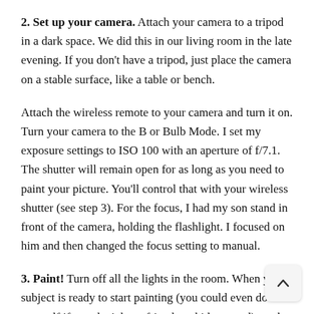2. Set up your camera. Attach your camera to a tripod in a dark space. We did this in our living room in the late evening. If you don't have a tripod, just place the camera on a stable surface, like a table or bench.
Attach the wireless remote to your camera and turn it on. Turn your camera to the B or Bulb Mode. I set my exposure settings to ISO 100 with an aperture of f/7.1. The shutter will remain open for as long as you need to paint your picture. You'll control that with your wireless shutter (see step 3). For the focus, I had my son stand in front of the camera, holding the flashlight. I focused on him and then changed the focus setting to manual.
3. Paint! Turn off all the lights in the room. When your subject is ready to start painting (you could even do it yourself if you don't have friends or kids around), push the